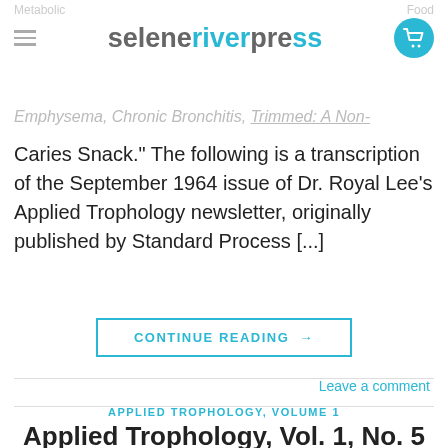seleneriverpress
Caries Snack.” The following is a transcription of the September 1964 issue of Dr. Royal Lee’s Applied Trophology newsletter, originally published by Standard Process […]
CONTINUE READING →
Leave a comment
APPLIED TROPHOLOGY, VOLUME 1
Applied Trophology, Vol. 1, No. 5 (May 1957)